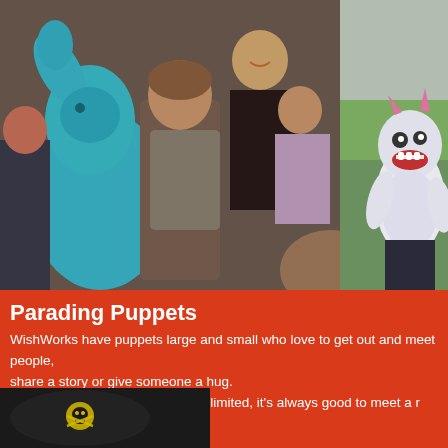[Figure (photo): Children playing with a large blue puppet/dinosaur toy indoors; a smiling woman and a young girl in background; a child is hugging the blue puppet.]
[Figure (photo): A large white fluffy monster puppet with pink horns and an open mouth, photographed outdoors against green fields and grey sky.]
Parading Puppets
WishWorks have puppets large and small who love to get out and meet people, share a story or give someone a hug.
Perfect walkabout when space is limited, it's always good to meet a r…
[Figure (photo): A black circular hat with a yellow skull and crossbones logo, partially visible at the bottom of the page.]